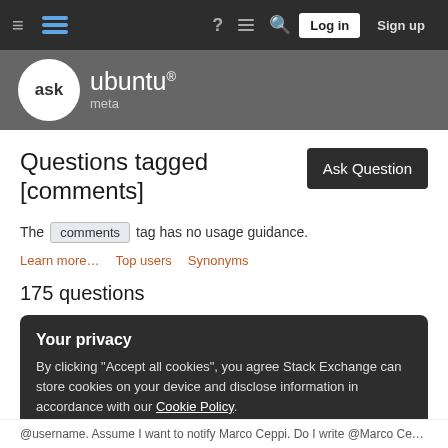Ask Ubuntu Meta — navigation bar with Log in and Sign up
[Figure (logo): Ask Ubuntu Meta logo: white circular speech bubble with 'ask' text, followed by 'ubuntu' with Ubuntu logo, and 'meta' subtitle]
Questions tagged [comments]
The comments tag has no usage guidance.
Learn more…   Top users   Synonyms
175 questions
Your privacy
By clicking "Accept all cookies", you agree Stack Exchange can store cookies on your device and disclose information in accordance with our Cookie Policy.
Accept all cookies   Customize settings
@username. Assume I want to notify Marco Ceppi. Do I write @Marco Ceppi or…